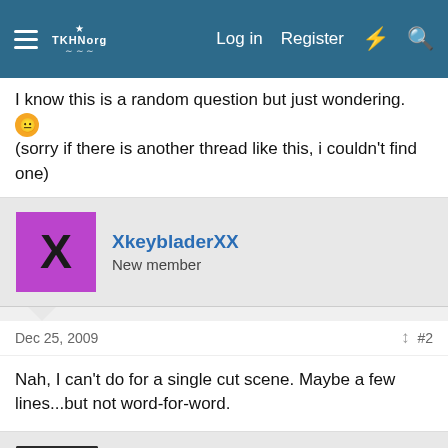Navigation bar with hamburger menu, site logo, Log in, Register, lightning icon, search icon
I know this is a random question but just wondering. [emoji] (sorry if there is another thread like this, i couldn't find one)
XkeybladerXX — New member
Dec 25, 2009  #2
Nah, I can't do for a single cut scene. Maybe a few lines...but not word-for-word.
MangaCrazy101 — The Blonde
Dec 25, 2009  #3
I can di Kai'z poem word for word... I write it everywhere [emoji] Mostly on my drawing books... I can quote a few my sis and I sit